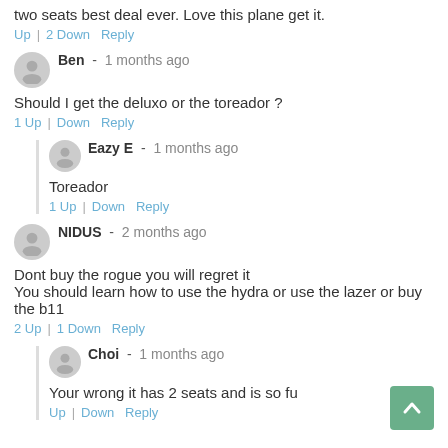two seats best deal ever. Love this plane get it.
Up | 2 Down  Reply
Ben  -  1 months ago
Should I get the deluxo or the toreador ?
1 Up | Down  Reply
Eazy E  -  1 months ago
Toreador
1 Up | Down  Reply
NIDUS  -  2 months ago
Dont buy the rogue you will regret it
You should learn how to use the hydra or use the lazer or buy the b11
2 Up | 1 Down  Reply
Choi  -  1 months ago
Your wrong it has 2 seats and is so fu
Up | Down  Reply